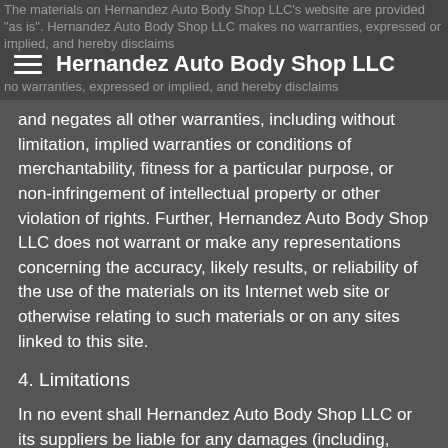The materials on Hernandez Auto Body Shop LLC's website are provided "as is". Hernandez Auto Body Shop LLC makes no warranties, expressed or implied, and hereby disclaims | Hernandez Auto Body Shop LLC
and negates all other warranties, including without limitation, implied warranties or conditions of merchantability, fitness for a particular purpose, or non-infringement of intellectual property or other violation of rights. Further, Hernandez Auto Body Shop LLC does not warrant or make any representations concerning the accuracy, likely results, or reliability of the use of the materials on its Internet web site or otherwise relating to such materials or on any sites linked to this site.
4. Limitations
In no event shall Hernandez Auto Body Shop LLC or its suppliers be liable for any damages (including, without limitation, damages for loss of data or profit, or due to business interruption,) arising out of the use or inability to use the materials on Hernandez Auto Body Shop LLC Internet site, even if Hernandez Auto Body Shop LLC or a Hernandez Auto Body Shop LLC authorized representative